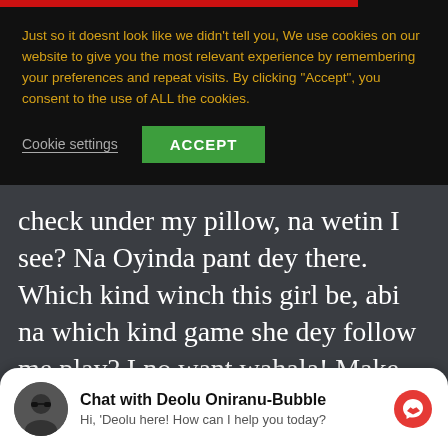Just so it doesnt look like we didn't tell you, We use cookies on our website to give you the most relevant experience by remembering your preferences and repeat visits. By clicking "Accept", you consent to the use of ALL the cookies.
Cookie settings | ACCEPT
check under my pillow, na wetin I see? Na Oyinda pant dey there. Which kind winch this girl be, abi na which kind game she dey follow me play? I no want wahala! Make woman no go put me for trouble o. But as bad...
Chat with Deolu Oniranu-Bubble
Hi, 'Deolu here! How can I help you today?